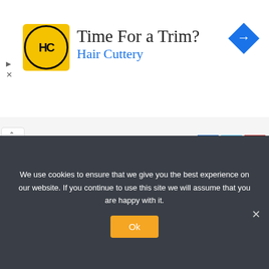[Figure (screenshot): Advertisement banner for Hair Cuttery with logo, 'Time For a Trim?' heading, blue 'Hair Cuttery' text, and a blue diamond navigation arrow icon on the right.]
SUBSCRIBE TO OUR CHANNEL
[Figure (screenshot): Empty white video/content area with an orange progress bar at the bottom.]
LOGIN
We use cookies to ensure that we give you the best experience on our website. If you continue to use this site we will assume that you are happy with it.